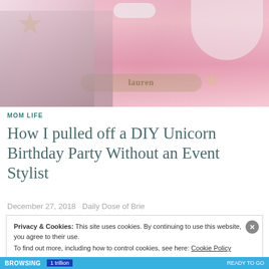[Figure (photo): A woman with two young girls posing in front of a pink unicorn-themed birthday party backdrop with the name 'Lauren' displayed]
MOM LIFE
How I pulled off a DIY Unicorn Birthday Party Without an Event Stylist
December 27, 2018  Daily Dose of Brie
Privacy & Cookies: This site uses cookies. By continuing to use this website, you agree to their use.
To find out more, including how to control cookies, see here: Cookie Policy
Close and accept